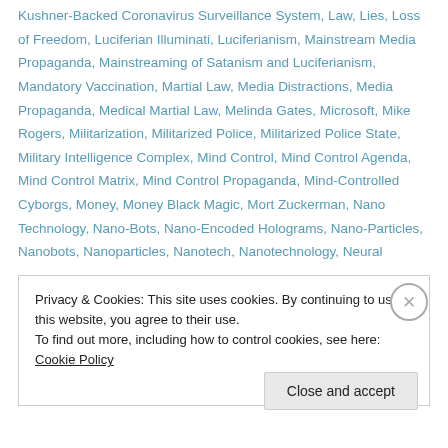Kushner-Backed Coronavirus Surveillance System, Law, Lies, Loss of Freedom, Luciferian Illuminati, Luciferianism, Mainstream Media Propaganda, Mainstreaming of Satanism and Luciferianism, Mandatory Vaccination, Martial Law, Media Distractions, Media Propaganda, Medical Martial Law, Melinda Gates, Microsoft, Mike Rogers, Militarization, Militarized Police, Militarized Police State, Military Intelligence Complex, Mind Control, Mind Control Agenda, Mind Control Matrix, Mind Control Propaganda, Mind-Controlled Cyborgs, Money, Money Black Magic, Mort Zuckerman, Nano Technology, Nano-Bots, Nano-Encoded Holograms, Nano-Particles, Nanobots, Nanoparticles, Nanotech, Nanotechnology, Neural
Privacy & Cookies: This site uses cookies. By continuing to use this website, you agree to their use. To find out more, including how to control cookies, see here: Cookie Policy
Close and accept